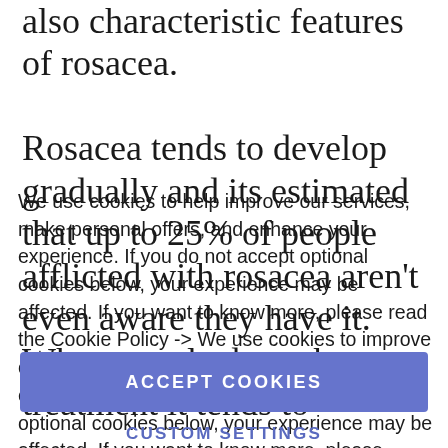also characteristic features of rosacea.

Rosacea tends to develop gradually and its estimated that up to 25% of people afflicted with rosacea aren't even aware they have it. When people do seek treatment it tends to
We use cookies to help improve our services, make personal offers, and enhance your experience. If you do not accept optional cookies below, your experience may be affected. If you want to know more, please read the Cookie Policy -> We use cookies to improve our services, make personal offers, and enhance your experience. If you do not accept optional cookies below, your experience may be affected. If you want to know more, please,
ACCEPT COOKIES
CUSTOM SETTINGS